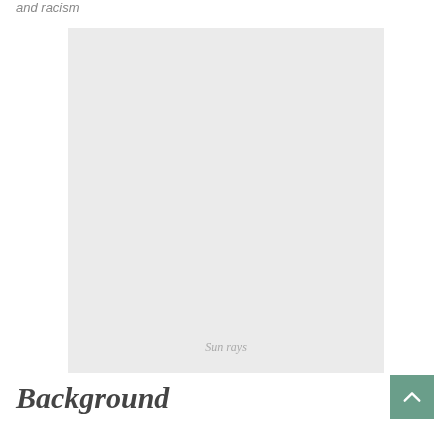and racism
[Figure (photo): Placeholder image area with light gray background, labeled 'Sun rays' at the bottom center]
Sun rays
Background
Investigations reveal that the strands by...